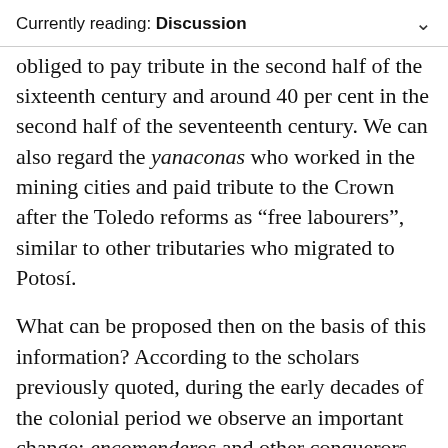Currently reading: Discussion
obliged to pay tribute in the second half of the sixteenth century and around 40 per cent in the second half of the seventeenth century. We can also regard the yanaconas who worked in the mining cities and paid tribute to the Crown after the Toledo reforms as “free labourers”, similar to other tributaries who migrated to Potosí.
What can be proposed then on the basis of this information? According to the scholars previously quoted, during the early decades of the colonial period we observe an important change: encomenderos and other conquerors made people work for them without limits in almost all productive tasks – agriculture, construction, mining, and transport. The natives had to give them their labour “tribute” as part of an encomienda, and in Potosí specifically they worked